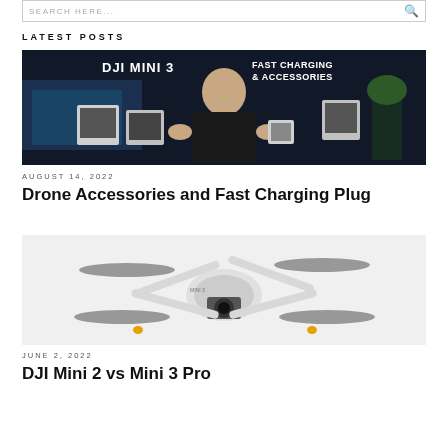SEARCH HERE...
LATEST POSTS
[Figure (screenshot): Video thumbnail showing a man in black presenting DJI Mini 3 fast charging and accessories in front of displays, with blue lighting and text reading 'DJI MINI 3 FAST CHARGING & ACCESSORIES']
AUGUST 14, 2022
Drone Accessories and Fast Charging Plug
[Figure (photo): Product photo of a white DJI Mini 3 Pro drone on white background, showing front-facing camera and four propellers extended]
JUNE 2, 2022
DJI Mini 2 vs Mini 3 Pro